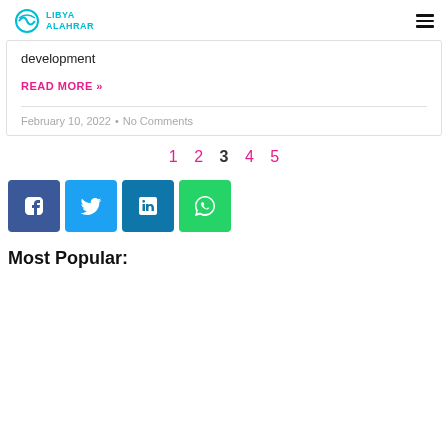LIBYA ALAHRAR
development
READ MORE »
February 10, 2022  •  No Comments
1  2  3  4  5
[Figure (other): Social share buttons: Facebook, Twitter, LinkedIn, WhatsApp]
Most Popular: